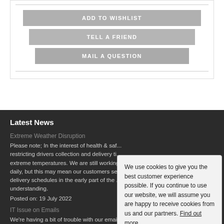ADD TO WISHLIST
TELL A FRIEND
MAIL A QUESTION
Latest News
Extreme Weather Disruption
Please note; In the interest of health & saf... restricting drivers collection and delivery ti... extreme temperatures. We are still working daily, but this may mean our customers se... delivery schedules in the early part of the ... understanding.
Posted on: 19 July 2022
IT Issue on Emails
We're having a bit of trouble with our emai... us, please use the terralec.co.uk email addresses to ensure your mail
We use cookies to give you the best customer experience possible. If you continue to use our website, we will assume you are happy to receive cookies from us and our partners. Find out more.
OK